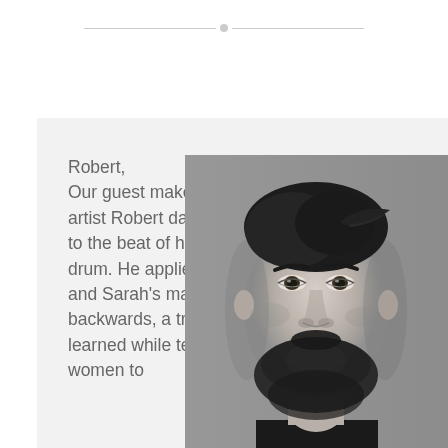Robert,
Our guest makeup artist Robert dances to the beat of his own drum. He applied Julie and Sarah's makeup backwards, a trick learned while teaching women to
[Figure (photo): Black and white portrait photo of a young bearded man with short dark hair, looking slightly downward, wearing a dark shirt, against a gray background.]